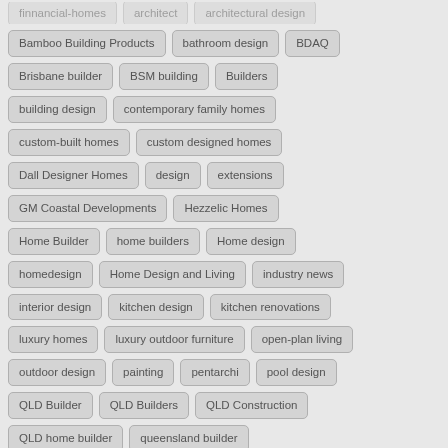Bamboo Building Products
bathroom design
BDAQ
Brisbane builder
BSM building
Builders
building design
contemporary family homes
custom-built homes
custom designed homes
Dall Designer Homes
design
extensions
GM Coastal Developments
Hezzelic Homes
Home Builder
home builders
Home design
homedesign
Home Design and Living
industry news
interior design
kitchen design
kitchen renovations
luxury homes
luxury outdoor furniture
open-plan living
outdoor design
painting
pentarchi
pool design
QLD Builder
QLD Builders
QLD Construction
QLD home builder
queensland builder
queensland builders
Queensland home design and living